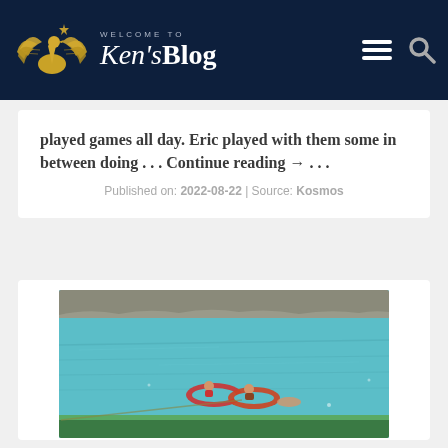WELCOME TO Ken'sBlog
played games all day. Eric played with them some in between doing . . . Continue reading →. . .
Published on: 2022-08-22 | Source: Kosmos
[Figure (photo): Photo of people in inflatable tubes/boats on turquoise blue water near a rocky shoreline]